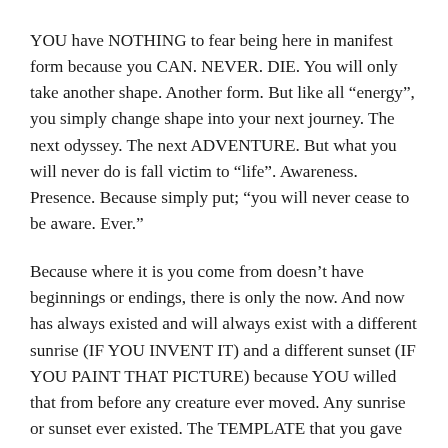YOU have NOTHING to fear being here in manifest form because you CAN. NEVER. DIE. You will only take another shape. Another form. But like all “energy”, you simply change shape into your next journey. The next odyssey. The next ADVENTURE. But what you will never do is fall victim to “life”. Awareness. Presence. Because simply put; “you will never cease to be aware. Ever.”
Because where it is you come from doesn’t have beginnings or endings, there is only the now. And now has always existed and will always exist with a different sunrise (IF YOU INVENT IT) and a different sunset (IF YOU PAINT THAT PICTURE) because YOU willed that from before any creature ever moved. Any sunrise or sunset ever existed. The TEMPLATE that you gave the “cosmeias” was that it would be forever adapting.